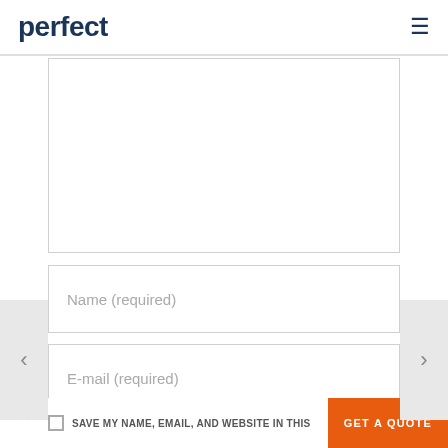perfect
[Figure (other): Large empty text area input field (comment box)]
Name (required)
E-mail (required)
Website
SAVE MY NAME, EMAIL, AND WEBSITE IN THIS
GET A QUOTE